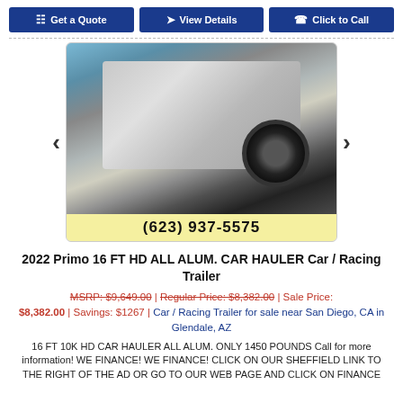Get a Quote | View Details | Click to Call
[Figure (photo): Photo of a 2022 Primo 16 FT HD ALL ALUM. CAR HAULER trailer showing aluminum flatbed with black wheel, in outdoor lot. Phone number (623) 937-5575 shown in yellow bar below image.]
2022 Primo 16 FT HD ALL ALUM. CAR HAULER Car / Racing Trailer
MSRP: $9,649.00 | Regular Price: $8,382.00 | Sale Price: $8,382.00 | Savings: $1267 | Car / Racing Trailer for sale near San Diego, CA in Glendale, AZ
16 FT 10K HD CAR HAULER ALL ALUM. ONLY 1450 POUNDS Call for more information! WE FINANCE! WE FINANCE! CLICK ON OUR SHEFFIELD LINK TO THE RIGHT OF THE AD OR GO TO OUR WEB PAGE AND CLICK ON FINANCE